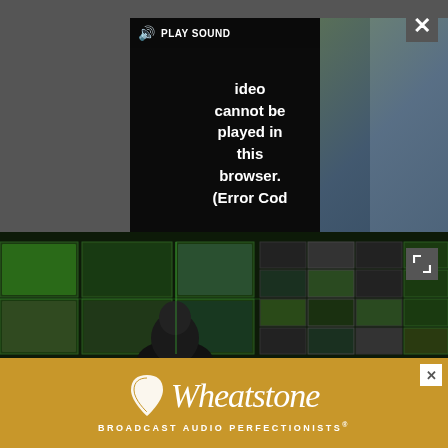[Figure (screenshot): Video player with error message 'Video cannot be played in this browser. (Error Cod' and a PLAY SOUND button bar. Set against a dark gray background with a broadcast control room image behind.]
[Figure (photo): Broadcast control room with a person seated in front of multiple large monitors showing various live sports event feeds.]
1 EMG Taps Lawo AoIP to Deliver Audio for European Championships
2 Drones, Cellular Networks and Nanosatellites are Revolutionizing Live Broadcasts
[Figure (logo): Wheatstone advertisement banner with leaf logo, 'Wheatstone' italic text, and tagline 'BROADCAST AUDIO PERFECTIONISTS®' on a golden-brown background]